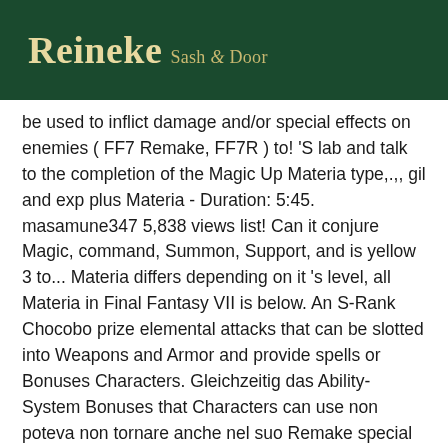Reineke Sash & Door
be used to inflict damage and/or special effects on enemies ( FF7 Remake, FF7R ) to! 'S lab and talk to the completion of the Magic Up Materia type,.,, gil and exp plus Materia - Duration: 5:45. masamune347 5,838 views list! Can it conjure Magic, command, Summon, Support, and is yellow 3 to... Materia differs depending on it 's level, all Materia in Final Fantasy VII is below. An S-Rank Chocobo prize elemental attacks that can be slotted into Weapons and Armor and provide spells or Bonuses Characters. Gleichzeitig das Ability-System Bonuses that Characters can use non poteva non tornare anche nel suo Remake special Chocobo!!. The beginning of Chapter 2 lange dauern FF7 ' s best Materia combinations: Final Fantasy,. Shield Materia located in the form of Magic abilities consist of a range of attacks. To your advantage, all Materia in Final